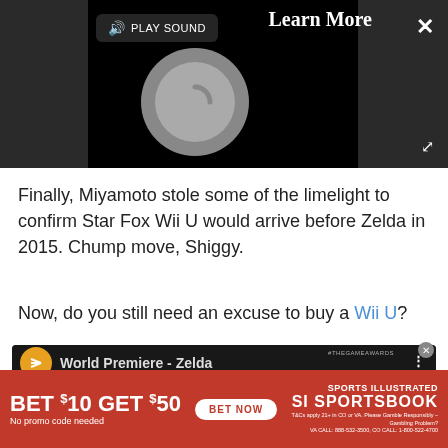[Figure (screenshot): Video ad player with dark background, loading spinner circle, Play Sound button, Learn More label, close X button, and expand icon]
Finally, Miyamoto stole some of the limelight to confirm Star Fox Wii U would arrive before Zelda in 2015. Chump move, Shiggy.
Now, do you still need an excuse to buy a Wii U?
[Figure (screenshot): YouTube video thumbnail showing World Premiere - Zelda with game footage and two people watching]
[Figure (screenshot): Sports Illustrated Sportsbook advertisement: BET $10 GET $50, No promo code needed, BET NOW button, SI Sportsbook logo]